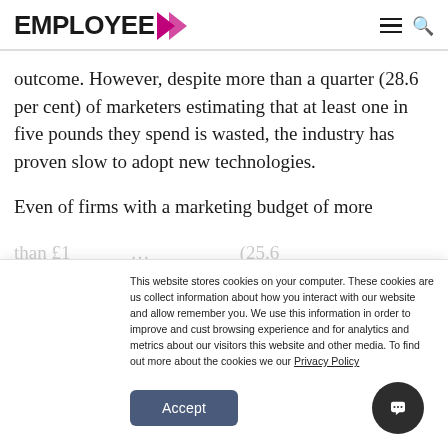EMPLOYEE >
outcome. However, despite more than a quarter (28.6 per cent) of marketers estimating that at least one in five pounds they spend is wasted, the industry has proven slow to adopt new technologies.
Even of firms with a marketing budget of more than £1…
This website stores cookies on your computer. These cookies are us collect information about how you interact with our website and allow remember you. We use this information in order to improve and cust browsing experience and for analytics and metrics about our visitors this website and other media. To find out more about the cookies we our Privacy Policy